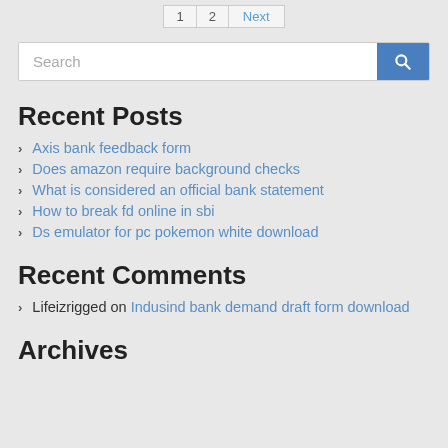1  2  Next
Search
Recent Posts
Axis bank feedback form
Does amazon require background checks
What is considered an official bank statement
How to break fd online in sbi
Ds emulator for pc pokemon white download
Recent Comments
Lifeizrigged on Indusind bank demand draft form download
Archives